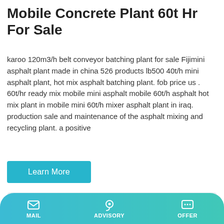Mobile Concrete Plant 60t Hr For Sale
karoo 120m3/h belt conveyor batching plant for sale Fijimini asphalt plant made in china 526 products lb500 40t/h mini asphalt plant, hot mix asphalt batching plant. fob price us . 60t/hr ready mix mobile mini asphalt mobile 60t/h asphalt hot mix plant in mobile mini 60t/h mixer asphalt plant in iraq. production sale and maintenance of the asphalt mixing and recycling plant. a positive
Learn More
[Figure (photo): Mobile concrete mixer machine with green body and rotating drum, alongside a cab unit, on light grey background]
MAIL  ADVISORY  OFFER